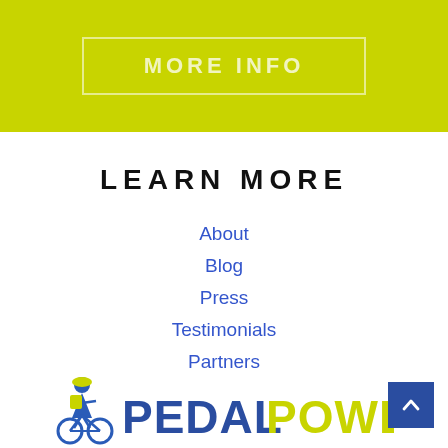[Figure (other): Lime green banner with a semi-transparent 'MORE INFO' button outlined in white]
LEARN MORE
About
Blog
Press
Testimonials
Partners
[Figure (logo): PedalPower logo with cyclist icon and text PEDALPOWER in blue and yellow-green]